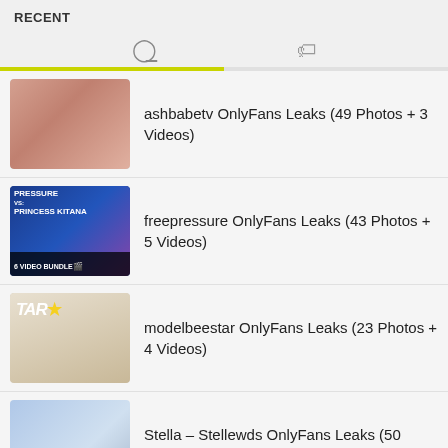RECENT
ashbabetv OnlyFans Leaks (49 Photos + 3 Videos)
freepressure OnlyFans Leaks (43 Photos + 5 Videos)
modelbeestar OnlyFans Leaks (23 Photos + 4 Videos)
Stella – Stellewds OnlyFans Leaks (50 Photos + 3 Videos)